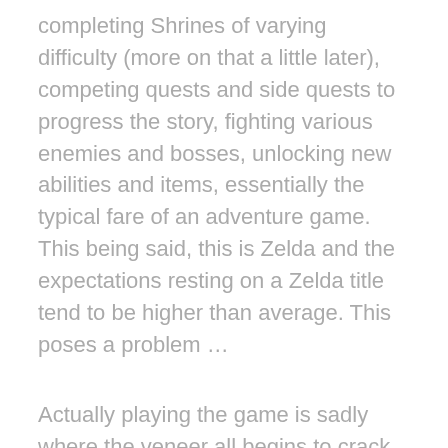completing Shrines of varying difficulty (more on that a little later), competing quests and side quests to progress the story, fighting various enemies and bosses, unlocking new abilities and items, essentially the typical fare of an adventure game. This being said, this is Zelda and the expectations resting on a Zelda title tend to be higher than average. This poses a problem …
Actually playing the game is sadly where the veneer all begins to crack. In terms of controls, Link is genuinely good to play as; he's pretty responsive apart from a tendency, with the Switch analog sticks being positioned the way they are, for Link to just randomly crouch deeming himself mostly useless in combat scenarios (but this might just be me). This being said, the moment you get Link on a horse the responsive